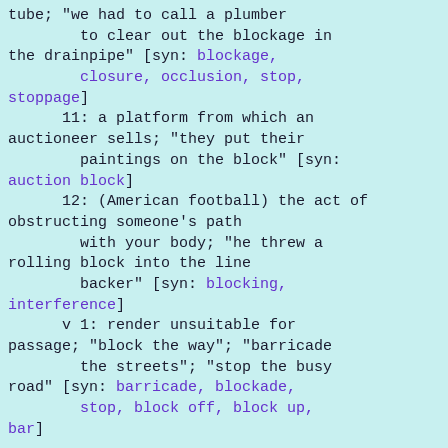tube; "we had to call a plumber to clear out the blockage in the drainpipe" [syn: blockage, closure, occlusion, stop, stoppage]
      11: a platform from which an auctioneer sells; "they put their paintings on the block" [syn: auction block]
      12: (American football) the act of obstructing someone's path with your body; "he threw a rolling block into the line backer" [syn: blocking, interference]
      v 1: render unsuitable for passage; "block the way"; "barricade the streets"; "stop the busy road" [syn: barricade, blockade, stop, block off, block up, bar]